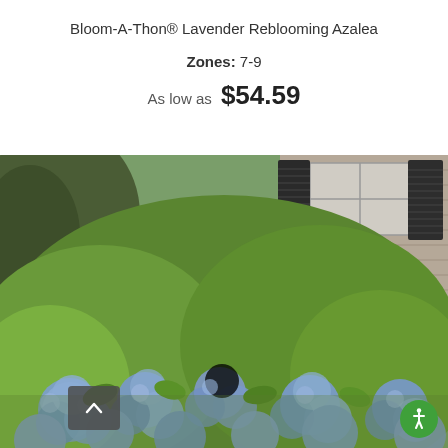Bloom-A-Thon® Lavender Reblooming Azalea
Zones: 7-9
As low as $54.59
[Figure (photo): Photo of blue/lavender flowering hydrangea shrubs in front of a house with gray shingle siding and dark shutters, lush green foliage, outdoor garden setting]